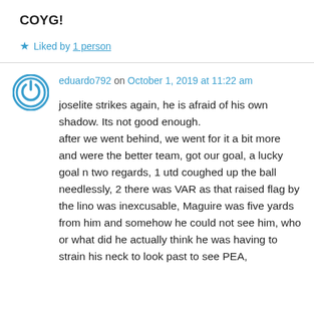COYG!
★ Liked by 1 person
eduardo792 on October 1, 2019 at 11:22 am
joselite strikes again, he is afraid of his own shadow. Its not good enough.
after we went behind, we went for it a bit more and were the better team, got our goal, a lucky goal n two regards, 1 utd coughed up the ball needlessly, 2 there was VAR as that raised flag by the lino was inexcusable, Maguire was five yards from him and somehow he could not see him, who or what did he actually think he was having to strain his neck to look past to see PEA,